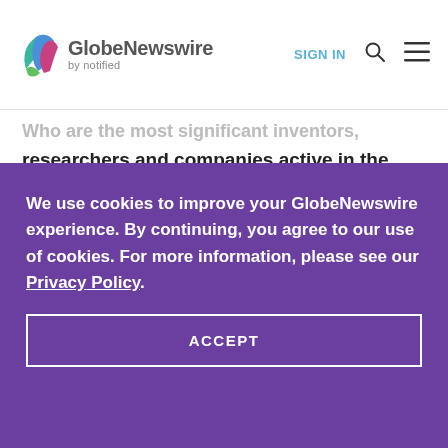GlobeNewswire by notified — SIGN IN
Who are the most significant inventors, researchers and companies active in the field
We use cookies to improve your GlobeNewswire experience. By continuing, you agree to our use of cookies. For more information, please see our Privacy Policy.
ACCEPT